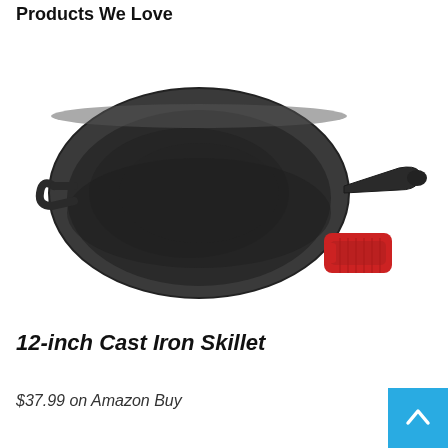Products We Love
[Figure (photo): A 12-inch cast iron skillet with a long handle on the right side and a small helper handle on the left side. A red silicone handle holder is placed to the lower right of the skillet.]
12-inch Cast Iron Skillet
$37.99 on Amazon Buy